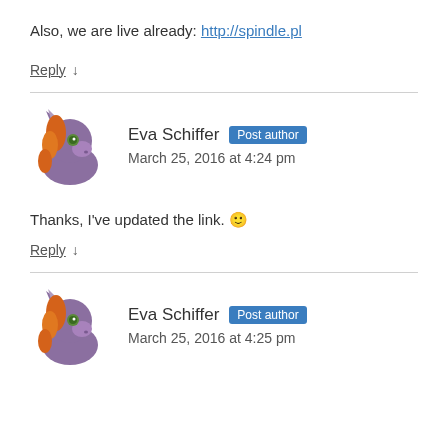Also, we are live already: http://spindle.pl
Reply ↓
Eva Schiffer Post author March 25, 2016 at 4:24 pm
Thanks, I've updated the link. 🙂
Reply ↓
Eva Schiffer Post author March 25, 2016 at 4:25 pm